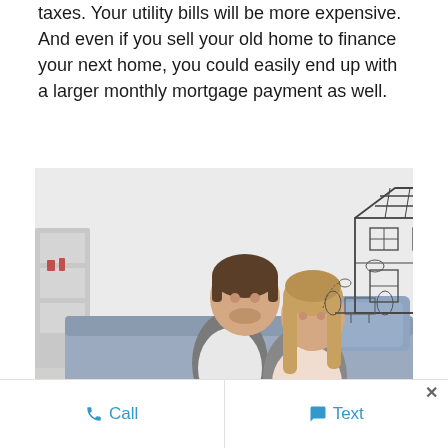taxes. Your utility bills will be more expensive. And even if you sell your old home to finance your next home, you could easily end up with a larger monthly mortgage payment as well.
[Figure (photo): A couple sitting on a couch together looking upward dreamily, with a sketch illustration of a house drawn above them representing their dream home.]
Call   Text